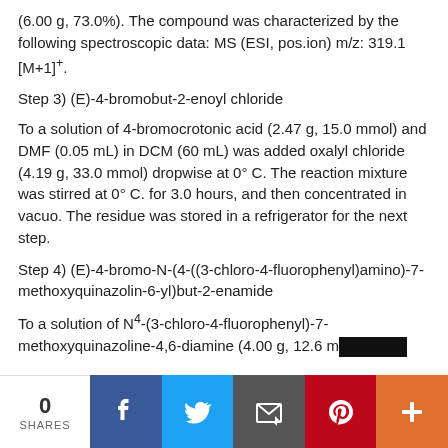(6.00 g, 73.0%). The compound was characterized by the following spectroscopic data: MS (ESI, pos.ion) m/z: 319.1 [M+1]+.
Step 3) (E)-4-bromobut-2-enoyl chloride
To a solution of 4-bromocrotonic acid (2.47 g, 15.0 mmol) and DMF (0.05 mL) in DCM (60 mL) was added oxalyl chloride (4.19 g, 33.0 mmol) dropwise at 0° C. The reaction mixture was stirred at 0° C. for 3.0 hours, and then concentrated in vacuo. The residue was stored in a refrigerator for the next step.
Step 4) (E)-4-bromo-N-(4-((3-chloro-4-fluorophenyl)amino)-7-methoxyquinazolin-6-yl)but-2-enamide
To a solution of N4-(3-chloro-4-fluorophenyl)-7-methoxyquinazoline-4,6-diamine (4.00 g, 12.6 m…
0 SHARES  [Facebook] [Twitter] [Email] [Pinterest] [+]